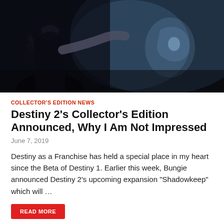[Figure (photo): Dark video game screenshot showing an armored character figure against a dark background with bluish lighting accents]
COLLECTOR'S EDITION NEWS
Destiny 2’s Collector’s Edition Announced, Why I Am Not Impressed
June 7, 2019
Destiny as a Franchise has held a special place in my heart since the Beta of Destiny 1. Earlier this week, Bungie announced Destiny 2’s upcoming expansion “Shadowkeep” which will …
READ MORE